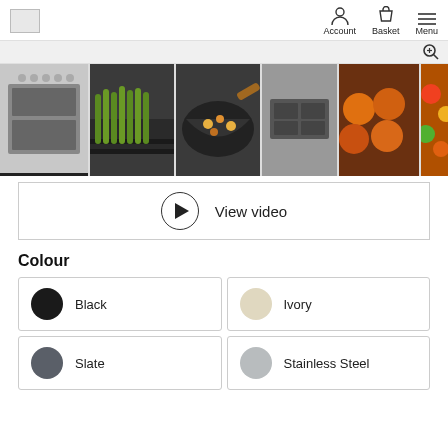Account  Basket  Menu
[Figure (screenshot): Product image gallery strip showing: a range cooker oven (active/selected), grilled asparagus on BBQ, stir-fry in wok, a hob unit, caramelized tomatoes, and a colorful salad]
View video
Colour
Black
Ivory
Slate
Stainless Steel